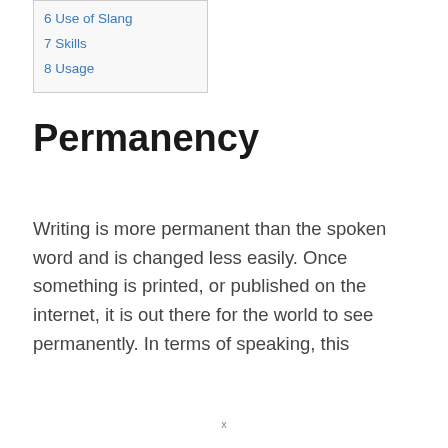6 Use of Slang
7 Skills
8 Usage
Permanency
Writing is more permanent than the spoken word and is changed less easily. Once something is printed, or published on the internet, it is out there for the world to see permanently. In terms of speaking, this